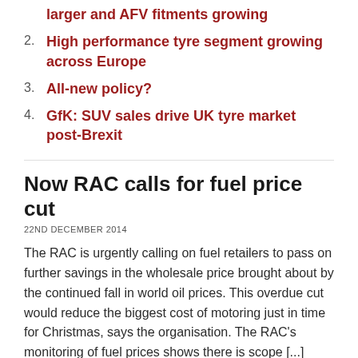larger and AFV fitments growing
2. High performance tyre segment growing across Europe
3. All-new policy?
4. GfK: SUV sales drive UK tyre market post-Brexit
Now RAC calls for fuel price cut
22ND DECEMBER 2014
The RAC is urgently calling on fuel retailers to pass on further savings in the wholesale price brought about by the continued fall in world oil prices. This overdue cut would reduce the biggest cost of motoring just in time for Christmas, says the organisation. The RAC's monitoring of fuel prices shows there is scope [...]